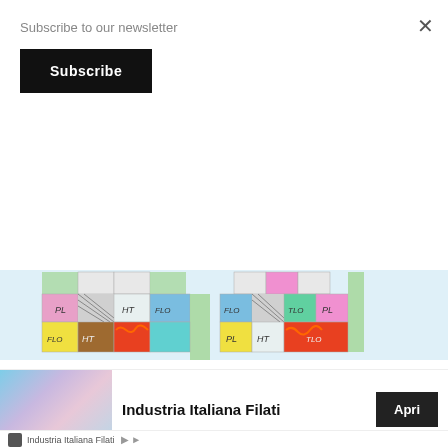Subscribe to our newsletter
Subscribe
[Figure (illustration): Hand-drawn plaid color grid sketches on light blue graph paper background, showing two groups of colored squares with labels like PL, HT, FLO, TLO in various colors]
Plaid
Privacy & Cookies: This site uses cookies. By continuing to use this site, you agree to their use.
d out more, including how to control cookies, see here: Cookie
Industria Italiana Filati
Apri
Industria Italiana Filati